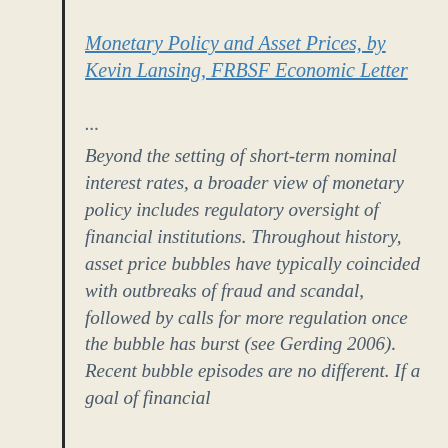Monetary Policy and Asset Prices, by Kevin Lansing, FRBSF Economic Letter
...
Beyond the setting of short-term nominal interest rates, a broader view of monetary policy includes regulatory oversight of financial institutions. Throughout history, asset price bubbles have typically coincided with outbreaks of fraud and scandal, followed by calls for more regulation once the bubble has burst (see Gerding 2006). Recent bubble episodes are no different. If a goal of financial